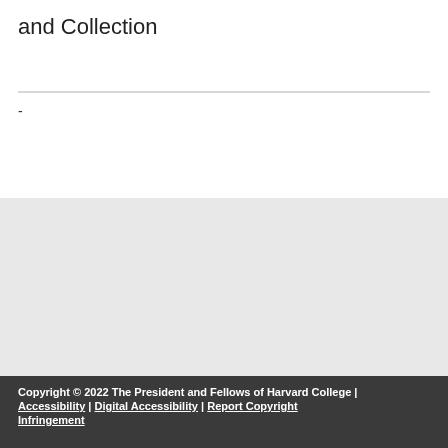and Collection
-
Admin Login
[Figure (logo): Powered by OpenScholar® logo]
Copyright © 2022 The President and Fellows of Harvard College | Accessibility | Digital Accessibility | Report Copyright Infringement